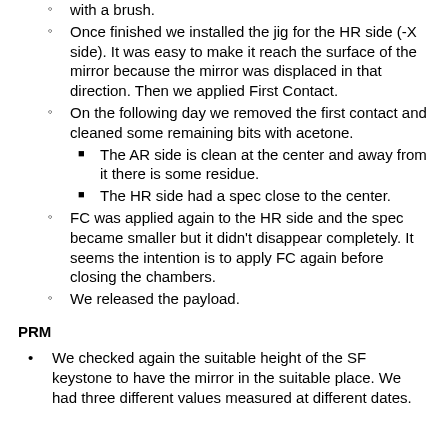with a brush.
Once finished we installed the jig for the HR side (-X side). It was easy to make it reach the surface of the mirror because the mirror was displaced in that direction. Then we applied First Contact.
On the following day we removed the first contact and cleaned some remaining bits with acetone.
The AR side is clean at the center and away from it there is some residue.
The HR side had a spec close to the center.
FC was applied again to the HR side and the spec became smaller but it didn't disappear completely. It seems the intention is to apply FC again before closing the chambers.
We released the payload.
PRM
We checked again the suitable height of the SF keystone to have the mirror in the suitable place. We had three different values measured at different dates.